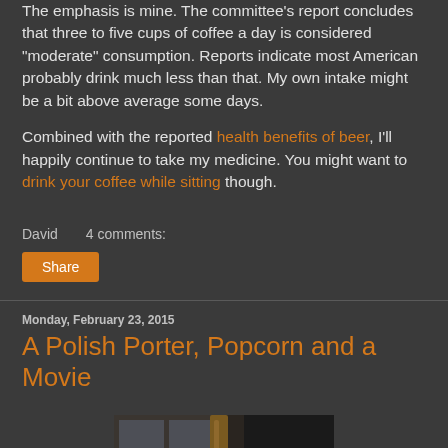The emphasis is mine. The committee's report concludes that three to five cups of coffee a day is considered "moderate" consumption. Reports indicate most American probably drink much less than that. My own intake might be a bit above average some days.
Combined with the reported health benefits of beer, I'll happily continue to take my medicine. You might want to drink your coffee while sitting though.
David   4 comments:
Share
Monday, February 23, 2015
A Polish Porter, Popcorn and a Movie
[Figure (photo): Photo of a dark beer bottle in front of a window with grid panes, dark background]